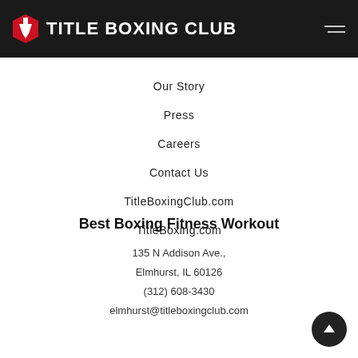TITLE BOXING CLUB
Our Story
Press
Careers
Contact Us
TitleBoxingClub.com
TitleBoxing.com
Best Boxing Fitness Workout
135 N Addison Ave.,
Elmhurst, IL 60126
(312) 608-3430
elmhurst@titleboxingclub.com